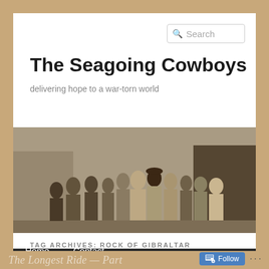Search
The Seagoing Cowboys
delivering hope to a war-torn world
[Figure (photo): Sepia-toned group photograph of men standing in front of large freight train cars or warehouse structure outdoors]
Home   Contact
TAG ARCHIVES: ROCK OF GIBRALTAR
The Longest Ride — Part…
Follow